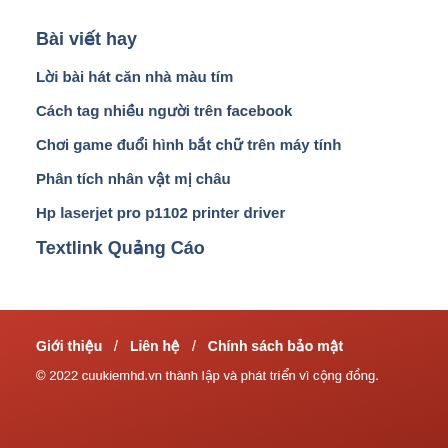Bài viết hay
Lời bài hát căn nhà màu tím
Cách tag nhiều người trên facebook
Chơi game đuổi hình bắt chữ trên máy tính
Phân tích nhân vật mị châu
Hp laserjet pro p1102 printer driver
Textlink Quảng Cáo
Giới thiệu / Liên hệ / Chính sách bảo mật
© 2022 cuukiemhd.vn thành lập và phát triển vì cộng đồng.